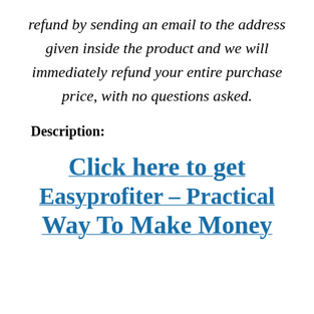refund by sending an email to the address given inside the product and we will immediately refund your entire purchase price, with no questions asked.
Description:
Click here to get Easyprofiter – Practical Way To Make Money